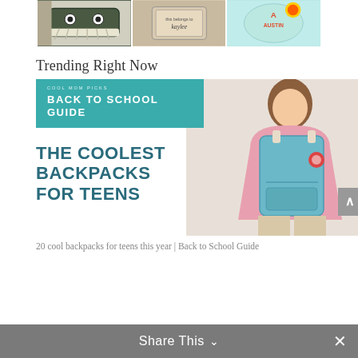[Figure (photo): Three product photos: a crocheted pencil case with googly eyes, a wooden stamp reading 'this belongs to kaylee', and a colorful backpack with 'AUSTIN' text]
Trending Right Now
[Figure (photo): Article thumbnail composite image showing a teal banner with 'COOL MOM PICKS / BACK TO SCHOOL GUIDE' badge, bold text 'THE COOLEST BACKPACKS FOR TEENS' in teal, and a teen girl wearing a light blue Fjallraven Kanken backpack and pink jacket]
20 cool backpacks for teens this year | Back to School Guide
Share This ∨  ✕